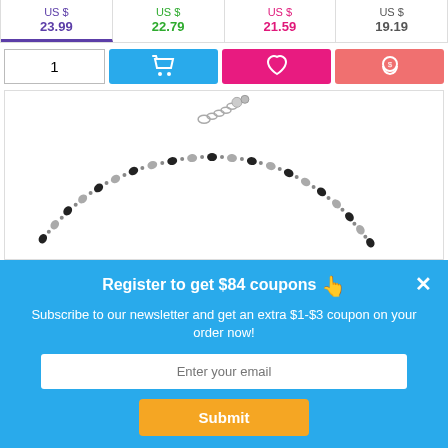| US $ 23.99 | US $ 22.79 | US $ 21.59 | US $ 19.19 |
[Figure (screenshot): Action buttons row: quantity input box showing 1, blue cart button, pink heart/wishlist button, salmon money-bag/save button]
[Figure (photo): A beaded necklace with black and silver beads and a chain clasp, photographed on white background]
Register to get $84 coupons
Subscribe to our newsletter and get an extra $1-$3 coupon on your order now!
Enter your email
Submit